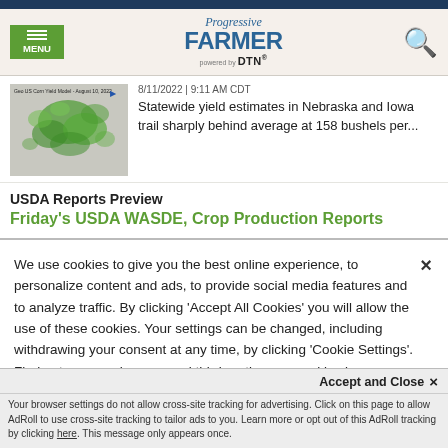Progressive Farmer powered by DTN — MENU | Search
[Figure (map): Geo US Corn Yield Model map showing green-shaded areas across US midwest states, dated August 10, 2022]
8/11/2022 | 9:11 AM CDT
Statewide yield estimates in Nebraska and Iowa trail sharply behind average at 158 bushels per...
USDA Reports Preview
Friday's USDA WASDE, Crop Production Reports
We use cookies to give you the best online experience, to personalize content and ads, to provide social media features and to analyze traffic. By clicking 'Accept All Cookies' you will allow the use of these cookies. Your settings can be changed, including withdrawing your consent at any time, by clicking 'Cookie Settings'. Find out more on how we and third parties use cookies in our  Cookie Policy
Accept and Close ×
Your browser settings do not allow cross-site tracking for advertising. Click on this page to allow AdRoll to use cross-site tracking to tailor ads to you. Learn more or opt out of this AdRoll tracking by clicking here. This message only appears once.